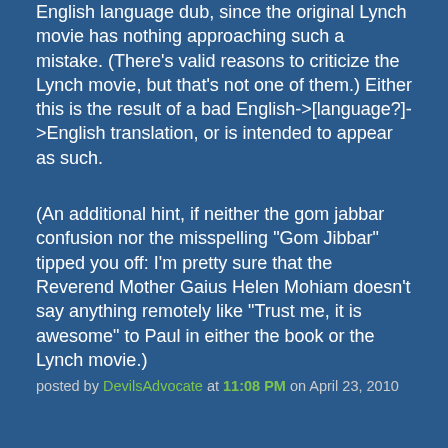English language dub, since the original Lynch movie has nothing approaching such a mistake. (There's valid reasons to criticize the Lynch movie, but that's not one of them.) Either this is the result of a bad English->[language?]->English translation, or is intended to appear as such.
(An additional hint, if neither the gom jabbar confusion nor the misspelling "Gom Jibbar" tipped you off: I'm pretty sure that the Reverend Mother Gaius Helen Mohiam doesn't say anything remotely like "Trust me, it is awesome" to Paul in either the book or the Lynch movie.)
posted by DevilsAdvocate at 11:08 PM on April 23, 2010
yeah, you're right, Mohiam is too stuck-up to say something like that.
posted by exlotuseater at 11:28 PM on April 23, 2010